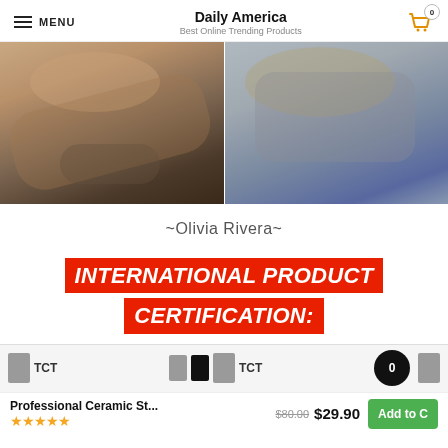Daily America
Best Online Trending Products
[Figure (photo): Two side-by-side photos: left shows a woman with long straight hair leaning forward, right shows a woman with curly hair from behind wearing a gray top.]
~Olivia Rivera~
INTERNATIONAL PRODUCT CERTIFICATION:
[Figure (screenshot): TCT product certification logos/images shown in a horizontal strip]
Professional Ceramic St... $80.00 $29.90
★★★★★
Add to Cart